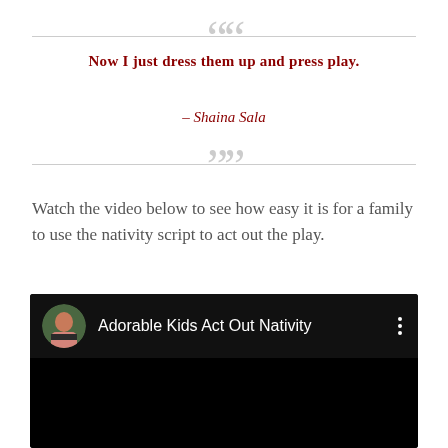““ Now I just dress them up and press play. – Shaina Sala ””
Watch the video below to see how easy it is for a family to use the nativity script to act out the play.
[Figure (screenshot): YouTube video thumbnail screenshot showing 'Adorable Kids Act Out Nativity' with a circular avatar of a woman and a three-dot menu icon, on a dark/black background.]